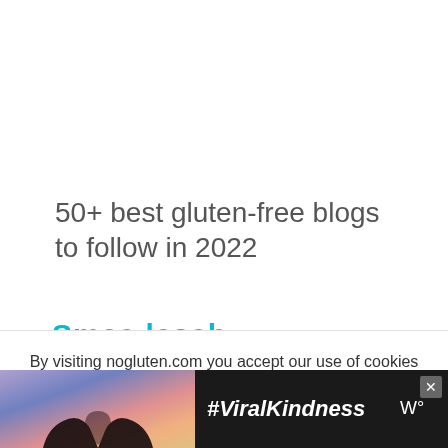50+ best gluten-free blogs to follow in 2022
By visiting nogluten.com you accept our use of cookies and agree to our privacy policy.
[Figure (screenshot): Cookie consent overlay with Accept button and ad banner showing #ViralKindness with a heart silhouette image]